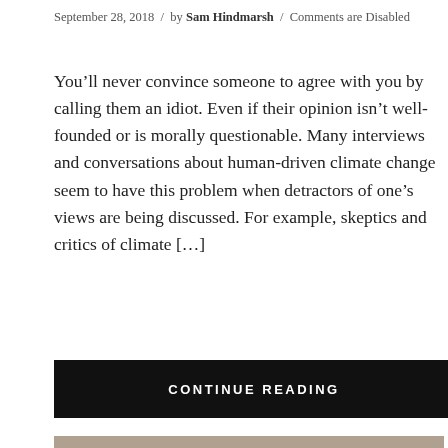September 28, 2018 / by Sam Hindmarsh / Comments are Disabled
You’ll never convince someone to agree with you by calling them an idiot. Even if their opinion isn’t well-founded or is morally questionable. Many interviews and conversations about human-driven climate change seem to have this problem when detractors of one’s views are being discussed. For example, skeptics and critics of climate […]
CONTINUE READING
[Figure (photo): Protest march photo showing demonstrators holding banners including a purple banner reading 'END THE MARCH FOR LIFE' and signs including 'MY BODY' and 'Freedom'. A 'SUSHI' restaurant sign is visible in the background.]